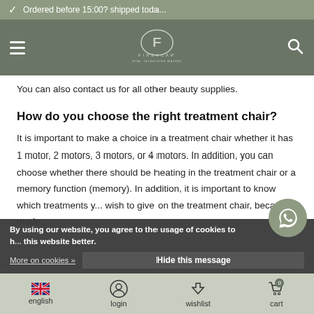Ordered before 15:00? shipped toda...
[Figure (logo): Findicar brand logo with circular F emblem and text FINDICAR below]
You can also contact us for all other beauty supplies.
How do you choose the right treatment chair?
It is important to make a choice in a treatment chair whether it has 1 motor, 2 motors, 3 motors, or 4 motors. In addition, you can choose whether there should be heating in the treatment chair or a memory function (memory). In addition, it is important to know which treatments y... wish to give on the treatment chair, because mode...
By using our website, you agree to the usage of cookies to h... this website better.
Hide this message
More on cookies »
english  login  wishlist  cart